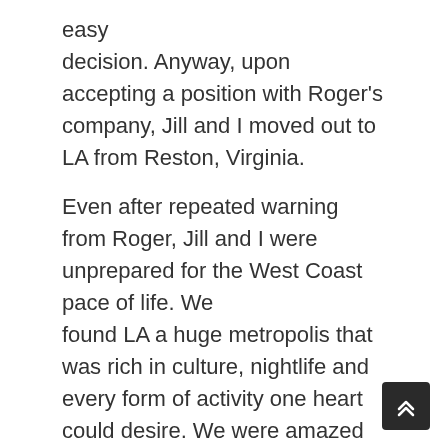easy decision. Anyway, upon accepting a position with Roger's company, Jill and I moved out to LA from Reston, Virginia.
Even after repeated warning from Roger, Jill and I were unprepared for the West Coast pace of life. We found LA a huge metropolis that was rich in culture, nightlife and every form of activity one heart could desire. We were amazed at the sheer number of people, everywhere. Everyone was on the go and seemed driven to get there without regard of their neighbor.
Laid-back my ass, this place was fast paced and money driven. Roger promised to ease us into 'it.' He did